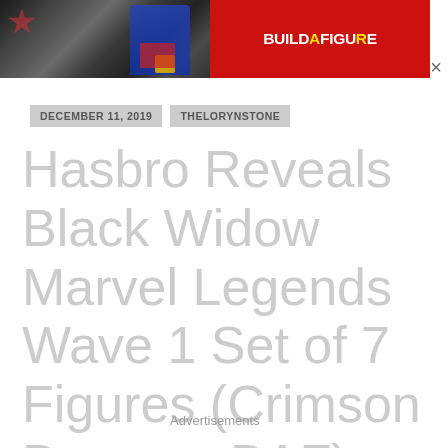[Figure (photo): Banner advertisement showing Marvel action figures including Captain America and Spider-Man with 'BUILD A FIGURE' text on red background, with a close (×) button]
DECEMBER 11, 2019
THELORYNSTONE
Hasbro Reveals Black Widow Marvel Legends Wave 1 Set of 7 Figures (Crimson Dynamo BAF)
Advertisements